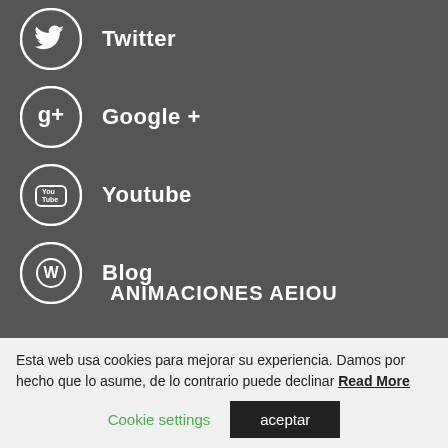Twitter
Google +
Youtube
Blog
ANIMACIONES AEIOU
¡FIESTAS INOLVIDABLES, RECUERDOS PARA TODA LA VIDA!
Esta web usa cookies para mejorar su experiencia. Damos por hecho que lo asume, de lo contrario puede declinar Read More
Cookie settings
aceptar